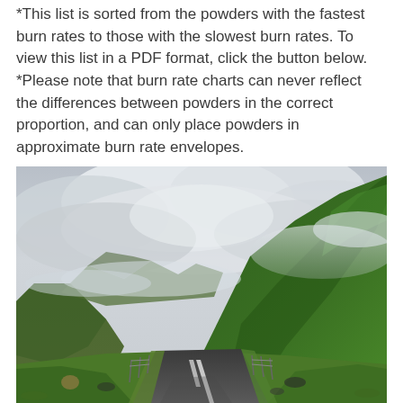*This list is sorted from the powders with the fastest burn rates to those with the slowest burn rates. To view this list in a PDF format, click the button below. *Please note that burn rate charts can never reflect the differences between powders in the correct proportion, and can only place powders in approximate burn rate envelopes.
[Figure (photo): Landscape photograph of a winding road through a green valley with misty mountains on either side and dramatic cloudy sky above. The road has white center markings and there are fences along the sides. Lush green slopes rise steeply on the right while mountains are visible in the background.]